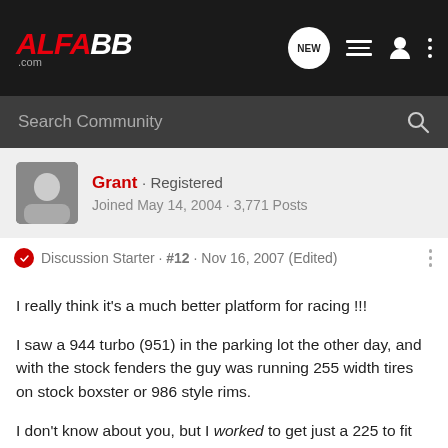ALFA BB .com
Search Community
Grant · Registered
Joined May 14, 2004 · 3,771 Posts
Discussion Starter · #12 · Nov 16, 2007 (Edited)
I really think it's a much better platform for racing !!!

I saw a 944 turbo (951) in the parking lot the other day, and with the stock fenders the guy was running 255 width tires on stock boxster or 986 style rims.

I don't know about you, but I worked to get just a 225 to fit on my car. Couple that with that car's lower center of gravity, better aerodynamics, better brakes...it's a much better track car right out of the box.